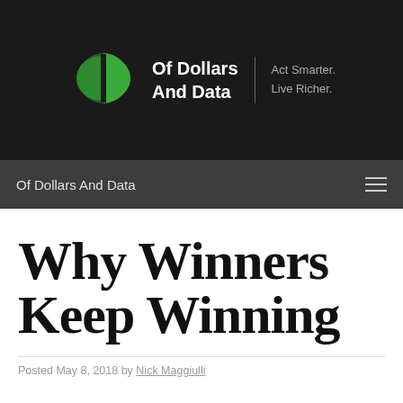Of Dollars And Data | Act Smarter. Live Richer.
Of Dollars And Data
Why Winners Keep Winning
Posted May 8, 2018 by Nick Maggiulli